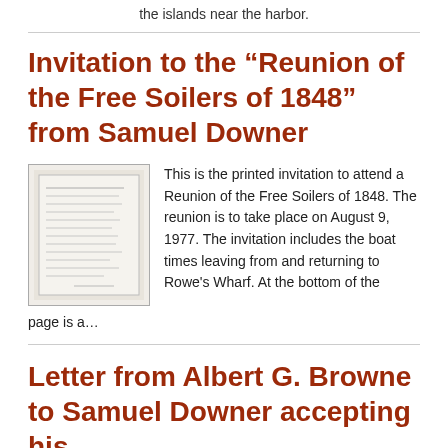the islands near the harbor.
Invitation to the “Reunion of the Free Soilers of 1848” from Samuel Downer
[Figure (photo): Thumbnail image of a printed document/letter, shown as a small grayscale scan with handwritten or printed text, bordered by a thin frame.]
This is the printed invitation to attend a Reunion of the Free Soilers of 1848. The reunion is to take place on August 9, 1977. The invitation includes the boat times leaving from and returning to Rowe’s Wharf. At the bottom of the page is a…
Letter from Albert G. Browne to Samuel Downer accepting his